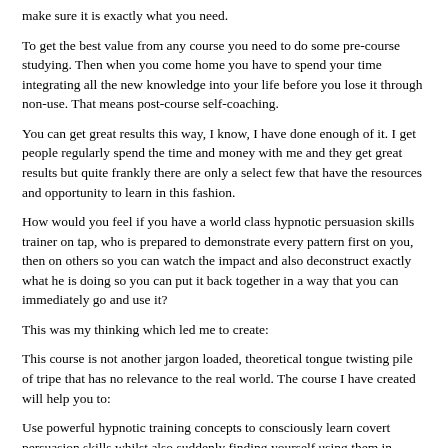make sure it is exactly what you need.
To get the best value from any course you need to do some pre-course studying. Then when you come home you have to spend your time integrating all the new knowledge into your life before you lose it through non-use. That means post-course self-coaching.
You can get great results this way, I know, I have done enough of it. I get people regularly spend the time and money with me and they get great results but quite frankly there are only a select few that have the resources and opportunity to learn in this fashion.
How would you feel if you have a world class hypnotic persuasion skills trainer on tap, who is prepared to demonstrate every pattern first on you, then on others so you can watch the impact and also deconstruct exactly what he is doing so you can put it back together in a way that you can immediately go and use it?
This was my thinking which led me to create:
This course is not another jargon loaded, theoretical tongue twisting pile of tripe that has no relevance to the real world. The course I have created will help you to:
Use powerful hypnotic training concepts to consciously learn covert persuasion skills whilst also suddenly finding yourself using them in everyday situations.